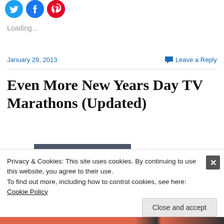[Figure (illustration): Three social media share icon circles: Twitter (blue), Facebook (blue), Pinterest (red)]
Loading...
January 29, 2013
Leave a Reply
Even More New Years Day TV Marathons (Updated)
Privacy & Cookies: This site uses cookies. By continuing to use this website, you agree to their use.
To find out more, including how to control cookies, see here: Cookie Policy
Close and accept